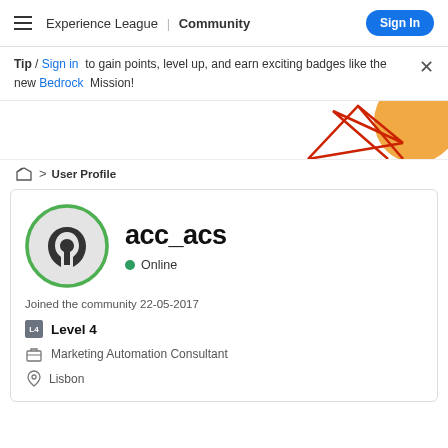Experience League | Community  Sign In
Tip / Sign in to gain points, level up, and earn exciting badges like the new Bedrock Mission!
[Figure (illustration): Decorative geometric graphic with red triangle lines and orange circle, partially visible in top right corner]
📁 > User Profile
acc_acs
Online
Joined the community 22-05-2017
Level 4
Marketing Automation Consultant
Lisbon